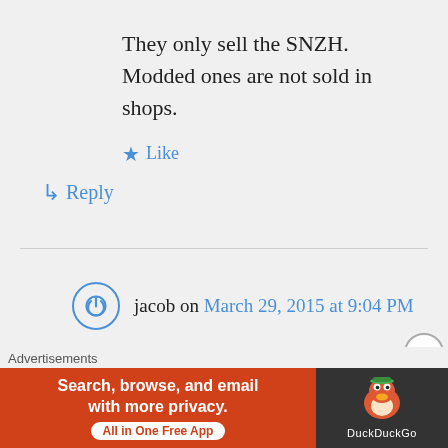They only sell the SNZH. Modded ones are not sold in shops.
★ Like
↳ Reply
jacob on March 29, 2015 at 9:04 PM
cool~ thanks for the friendly reply =D this is my first time going
Advertisements
[Figure (screenshot): DuckDuckGo advertisement banner: 'Search, browse, and email with more privacy. All in One Free App' with DuckDuckGo logo on dark right panel.]